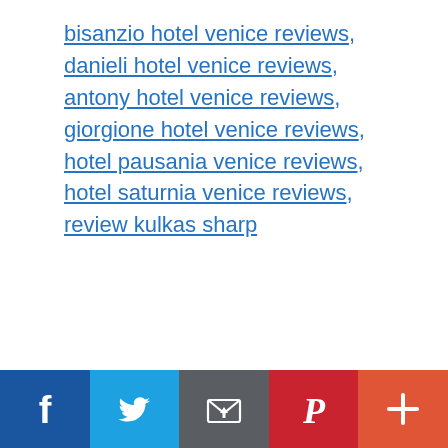bisanzio hotel venice reviews, danieli hotel venice reviews, antony hotel venice reviews, giorgione hotel venice reviews, hotel pausania venice reviews, hotel saturnia venice reviews, review kulkas sharp
[Figure (other): Social sharing bar with five buttons: Facebook (dark blue, f icon), Twitter (light blue, bird icon), Email (grey, envelope icon), Pinterest (red, P icon), More (orange-red, + icon)]